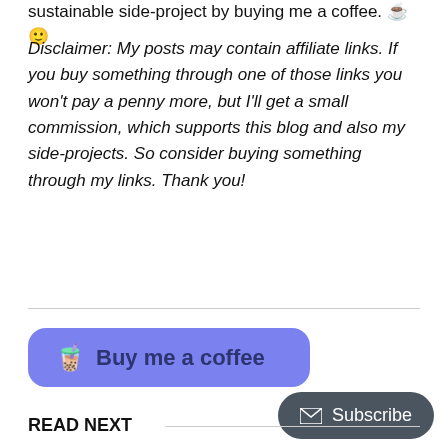sustainable side-project by buying me a coffee. ☕ 🙂
Disclaimer: My posts may contain affiliate links. If you buy something through one of those links you won't pay a penny more, but I'll get a small commission, which supports this blog and also my side-projects. So consider buying something through my links. Thank you!
[Figure (other): Button with purple background, coffee cup emoji and text: Buy me a coffee]
[Figure (other): Dark grey subscribe button with envelope icon]
READ NEXT